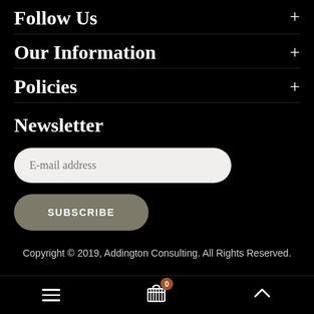Follow Us +
Our Information +
Policies +
Newsletter
E-mail address
SUBSCRIBE
Copyright © 2019, Addington Consulting. All Rights Reserved.